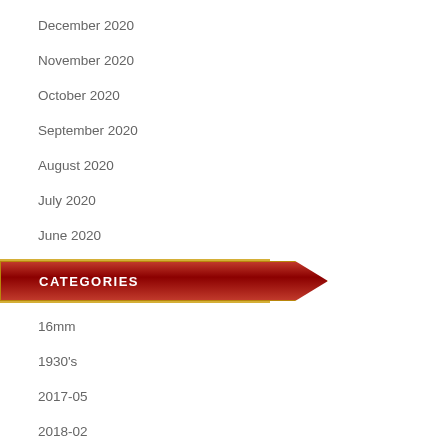December 2020
November 2020
October 2020
September 2020
August 2020
July 2020
June 2020
CATEGORIES
16mm
1930's
2017-05
2018-02
2fast